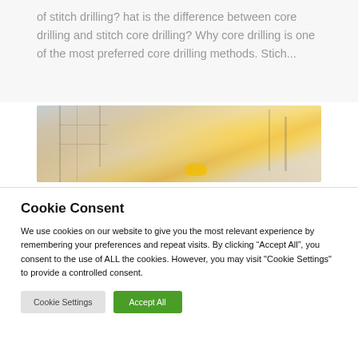of stitch drilling? hat is the difference between core drilling and stitch core drilling? Why core drilling is one of the most preferred core drilling methods. Stich...
[Figure (photo): Construction site photo showing scaffolding and structural framework with warm sunlight and a yellow hard hat visible in the foreground]
Cookie Consent
We use cookies on our website to give you the most relevant experience by remembering your preferences and repeat visits. By clicking “Accept All”, you consent to the use of ALL the cookies. However, you may visit "Cookie Settings" to provide a controlled consent.
Cookie Settings | Accept All